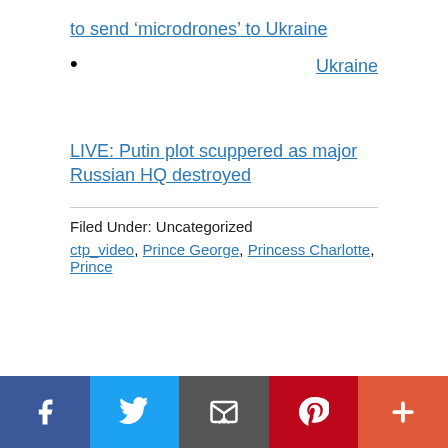to send ‘microdrones’ to Ukraine
Ukraine
LIVE: Putin plot scuppered as major Russian HQ destroyed
Filed Under: Uncategorized
ctp_video, Prince George, Princess Charlotte, Prince
Social share bar: Facebook, Twitter, Email, Pinterest, More